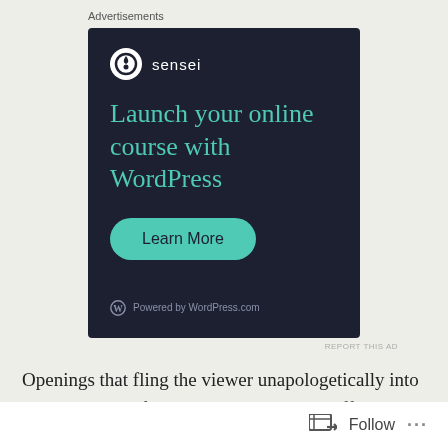Advertisements
[Figure (screenshot): Sensei advertisement with dark background showing logo, headline 'Launch your online course with WordPress', a teal 'Learn More' button, and 'Powered by WordPress.com' footer.]
REPORT THIS AD
Openings that fling the viewer unapologetically into the very heart of the story can be hugely effective, and that’s what occurs with A Bullet Is Waiting. The first image is of
Follow ...